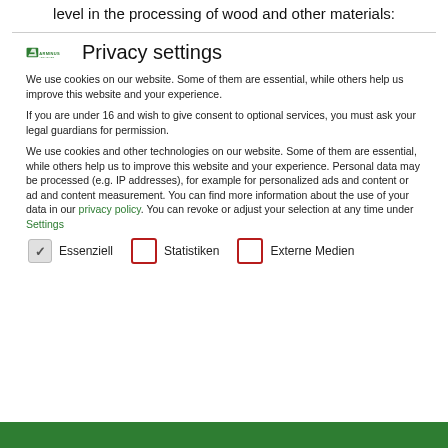level in the processing of wood and other materials:
Privacy settings
We use cookies on our website. Some of them are essential, while others help us improve this website and your experience.
If you are under 16 and wish to give consent to optional services, you must ask your legal guardians for permission.
We use cookies and other technologies on our website. Some of them are essential, while others help us to improve this website and your experience. Personal data may be processed (e.g. IP addresses), for example for personalized ads and content or ad and content measurement. You can find more information about the use of your data in our privacy policy. You can revoke or adjust your selection at any time under Settings.
Essenziell  Statistiken  Externe Medien